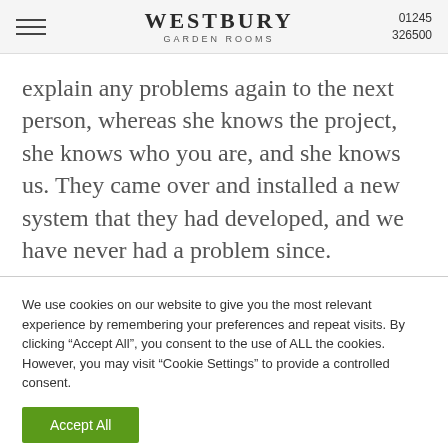WESTBURY GARDEN ROOMS  01245 326500
explain any problems again to the next person, whereas she knows the project, she knows who you are, and she knows us. They came over and installed a new system that they had developed, and we have never had a problem since.
We use cookies on our website to give you the most relevant experience by remembering your preferences and repeat visits. By clicking “Accept All”, you consent to the use of ALL the cookies. However, you may visit "Cookie Settings" to provide a controlled consent.